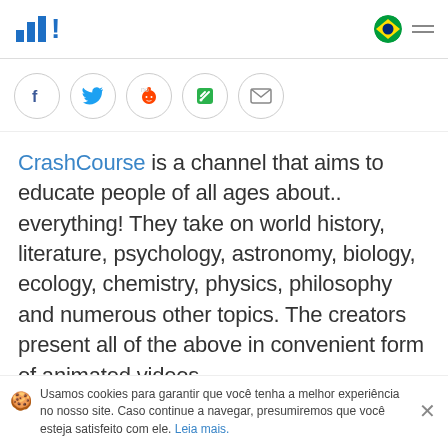[Figure (logo): Site logo: bar chart icon with exclamation mark in blue]
[Figure (infographic): Brazilian flag circle icon and hamburger menu icon in top right]
[Figure (infographic): Social sharing buttons row: Facebook, Twitter, Reddit, Feedly, Email]
CrashCourse is a channel that aims to educate people of all ages about.. everything! They take on world history, literature, psychology, astronomy, biology, ecology, chemistry, physics, philosophy and numerous other topics. The creators present all of the above in convenient form of animated videos,
Usamos cookies para garantir que você tenha a melhor experiência no nosso site. Caso continue a navegar, presumiremos que você esteja satisfeito com ele. Leia mais.